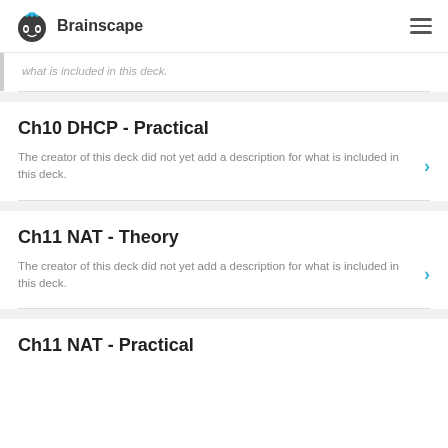Brainscape
what is included in this deck.
Ch10 DHCP - Practical
The creator of this deck did not yet add a description for what is included in this deck.
Ch11 NAT - Theory
The creator of this deck did not yet add a description for what is included in this deck.
Ch11 NAT - Practical